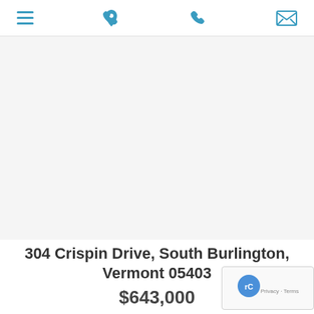navigation header with hamburger menu, phone icon, and mail icon
[Figure (illustration): SALE ribbon badge in teal/mint green on upper-left corner of property image area]
[Figure (photo): Property listing image area (appears blank/white in this rendering)]
304 Crispin Drive, South Burlington, Vermont 05403
$643,000